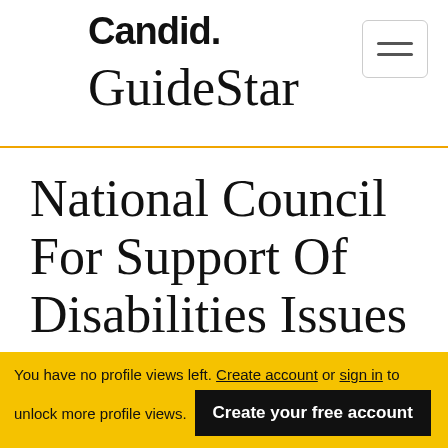Candid. GuideStar
National Council For Support Of Disabilities Issues
aka NCSD | Haymarket, VA | www.ncsd.org
You have no profile views left. Create account or sign in to unlock more profile views. Create your free account